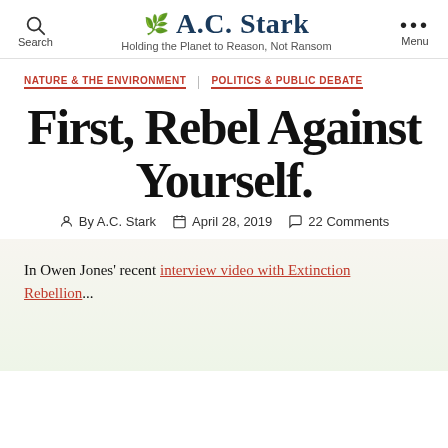A.C. Stark — Holding the Planet to Reason, Not Ransom
NATURE & THE ENVIRONMENT   POLITICS & PUBLIC DEBATE
First, Rebel Against Yourself.
By A.C. Stark   April 28, 2019   22 Comments
In Owen Jones' recent interview video with Extinction Rebellion...